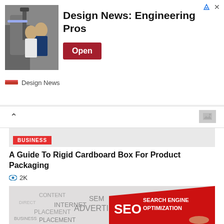[Figure (screenshot): Ad banner for Design News: Engineering Pros with photo of two men with robotic arm, Open button, and Design News source label]
[Figure (screenshot): Collapsed card with chevron up arrow and image placeholder icon]
[Figure (screenshot): Empty gray article image area with BUSINESS red tag label]
A Guide To Rigid Cardboard Box For Product Packaging
2K
[Figure (photo): SEO Search Engine Optimization word cloud image with a hand holding a pen on a red banner]